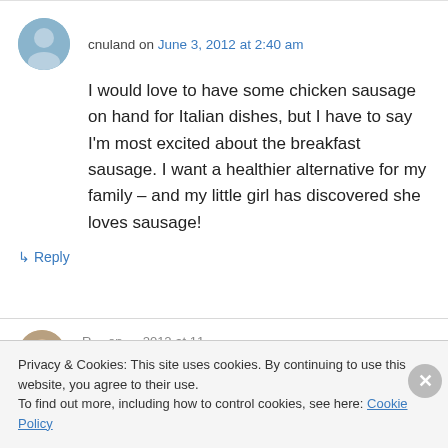cnuland on June 3, 2012 at 2:40 am
I would love to have some chicken sausage on hand for Italian dishes, but I have to say I'm most excited about the breakfast sausage. I want a healthier alternative for my family – and my little girl has discovered she loves sausage!
↳ Reply
Privacy & Cookies: This site uses cookies. By continuing to use this website, you agree to their use.
To find out more, including how to control cookies, see here: Cookie Policy
Close and accept